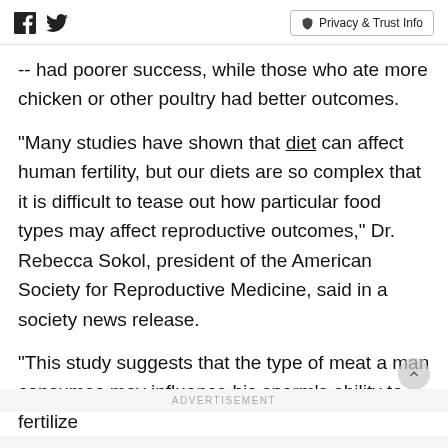[Facebook icon] [Twitter icon] | Privacy & Trust Info
-- had poorer success, while those who ate more chicken or other poultry had better outcomes.
"Many studies have shown that diet can affect human fertility, but our diets are so complex that it is difficult to tease out how particular food types may affect reproductive outcomes," Dr. Rebecca Sokol, president of the American Society for Reproductive Medicine, said in a society news release.
"This study suggests that the type of meat a man consumes may influence his sperm's ability to fertilize
ADVERTISEMENT